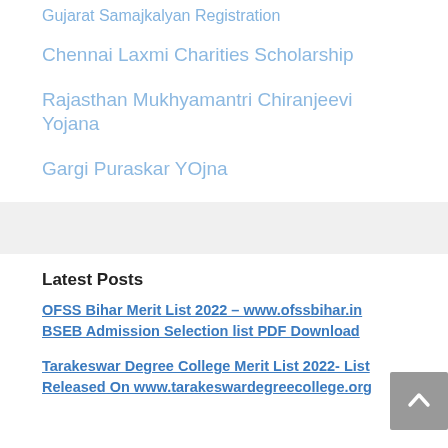Chennai Laxmi Charities Scholarship
Rajasthan Mukhyamantri Chiranjeevi Yojana
Gargi Puraskar YOjna
Latest Posts
OFSS Bihar Merit List 2022 – www.ofssbihar.in BSEB Admission Selection list PDF Download
Tarakeswar Degree College Merit List 2022- List Released On www.tarakeswardegreecollege.org